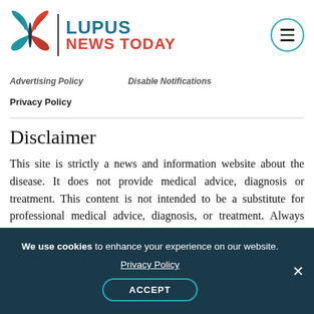[Figure (logo): Lupus News Today logo with butterfly icon in teal and red, vertical divider, text LUPUS NEWS TODAY]
Advertising Policy   Disable Notifications
Privacy Policy
Disclaimer
This site is strictly a news and information website about the disease. It does not provide medical advice, diagnosis or treatment. This content is not intended to be a substitute for professional medical advice, diagnosis, or treatment. Always seek the advice of your physician or other qualified health
We use cookies to enhance your experience on our website. Privacy Policy ACCEPT